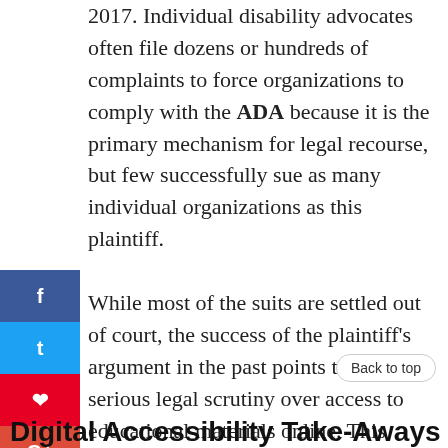2017. Individual disability advocates often file dozens or hundreds of complaints to force organizations to comply with the ADA because it is the primary mechanism for legal recourse, but few successfully sue as many individual organizations as this plaintiff. While most of the suits are settled out of court, the success of the plaintiff's argument in the past points to more serious legal scrutiny over access to educational materials online. This affects not only universities but also academic publications, job training programs, and other public digital resources.
[Figure (infographic): Social media share buttons bar on left side: Facebook (blue), Twitter (light blue), Pinterest (red), Google+ (red-orange), Reddit (light blue), Digg (black)]
Back to top
Digital Accessibility Take-Aways